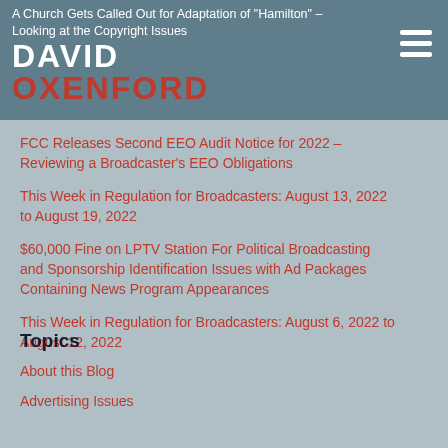A Church Gets Called Out for Adaptation of "Hamilton" – Looking at the Copyright Issues | DAVID OXENFORD
FCC Releases Second EEO Audit Notice for 2022 – Reviewing a Broadcaster's EEO Obligations
This Week in Regulation for Broadcasters: August 13, 2022 to August 19, 2022
$60,000 Fine on LPTV Station For Political Broadcasting and Sponsorship Identification Issues with Ad Packages Containing News Program Appearances
This Week in Regulation for Broadcasters: August 6, 2022 to August 12, 2022
Topics
About this Blog
Advertising Issues